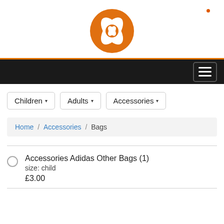[Figure (logo): Orange circular logo with white X shape inside, for a sports/retail brand]
[Figure (screenshot): Dark navigation bar with hamburger menu icon on the right and orange top border]
Children ▾
Adults ▾
Accessories ▾
Home / Accessories / Bags
Accessories Adidas Other Bags (1)
size: child
£3.00